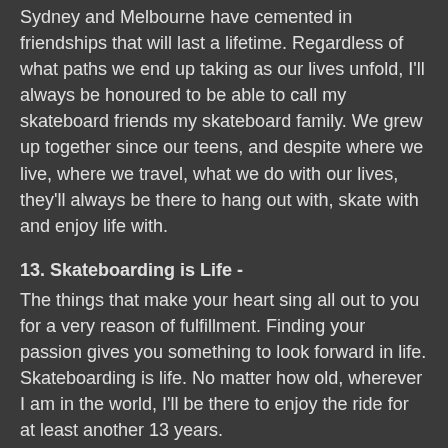Sydney and Melbourne have cemented in friendships that will last a lifetime. Regardless of what paths we end up taking as our lives unfold, I'll always be honoured to be able to call my skateboard friends my skateboard family. We grew up together since our teens, and despite where we live, where we travel, what we do with our lives, they'll always be there to hang out with, skate with and enjoy life with.
13. Skateboarding is Life -
The things that make your heart sing all out to you for a very reason of fulfillment. Finding your passion gives you something to look forward in life. Skateboarding is life. No matter how old, wherever I am in the world, I'll be there to enjoy the ride for at least another 13 years.
Namaste.
Love from Nathan and Friends